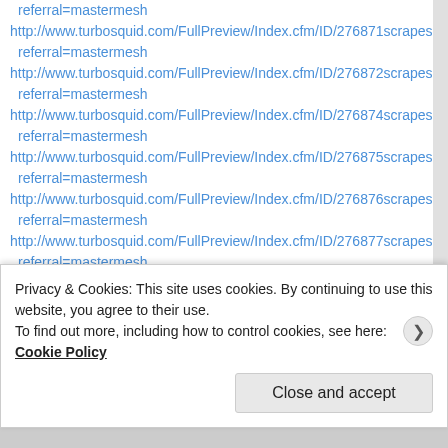referral=mastermesh
http://www.turbosquid.com/FullPreview/Index.cfm/ID/276871scrapes
referral=mastermesh
http://www.turbosquid.com/FullPreview/Index.cfm/ID/276872scrapes
referral=mastermesh
http://www.turbosquid.com/FullPreview/Index.cfm/ID/276874scrapes
referral=mastermesh
http://www.turbosquid.com/FullPreview/Index.cfm/ID/276875scrapes
referral=mastermesh
http://www.turbosquid.com/FullPreview/Index.cfm/ID/276876scrapes
referral=mastermesh
http://www.turbosquid.com/FullPreview/Index.cfm/ID/276877scrapes
referral=mastermesh
http://www.turbosquid.com/FullPreview/Index.cfm/ID/276878scrapes
Privacy & Cookies: This site uses cookies. By continuing to use this website, you agree to their use. To find out more, including how to control cookies, see here: Cookie Policy